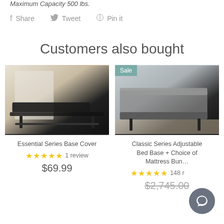Maximum Capacity 500 lbs.
Share  Tweet  Pin it
Customers also bought
[Figure (photo): Adjustable bed base frame without mattress on light wood floor with white headboard background]
Essential Series Base Cover
★★★★★ 1 review
$69.99
[Figure (photo): Classic Series Adjustable Bed Base with mattresses elevated, gray upholstered headboard, Sale badge in teal]
Classic Series Adjustable Bed Base + Choice of Mattress Bundle
★★★★★ 148 reviews
$2,745.00